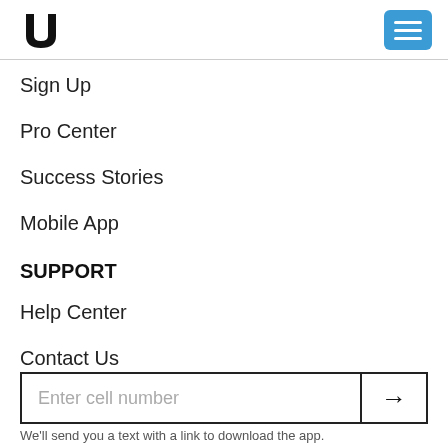[Figure (logo): U-shaped logo mark in black]
[Figure (other): Blue hamburger menu button with three white lines]
Sign Up
Pro Center
Success Stories
Mobile App
SUPPORT
Help Center
Contact Us
APPS DOWNLOAD
[Figure (other): Text input field with placeholder 'Enter cell number' and a right-arrow submit button]
We'll send you a text with a link to download the app.